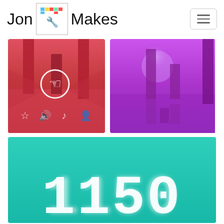Jon Makes
[Figure (screenshot): Red/pink game screenshot with vertical bars and touch icon and bottom icons (star, speaker, music note, person)]
[Figure (screenshot): Purple/magenta game screenshot with vertical bars and glowing circle]
[Figure (screenshot): Teal/cyan game screenshot with large glowing pixel-style number '1150']